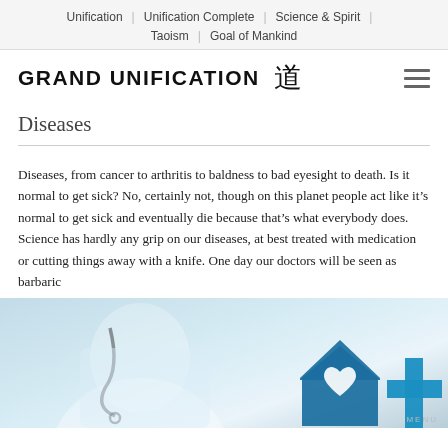Unification | Unification Complete | Science & Spirit | Taoism | Goal of Mankind
GRAND UNIFICATION 道
Diseases
Diseases, from cancer to arthritis to baldness to bad eyesight to death. Is it normal to get sick? No, certainly not, though on this planet people act like it's normal to get sick and eventually die because that's what everybody does. Science has hardly any grip on our diseases, at best treated with medication or cutting things away with a knife. One day our doctors will be seen as barbaric
[Figure (photo): Doctor in white coat with stethoscope, medical cross symbol and heart/house icon overlay in blue]